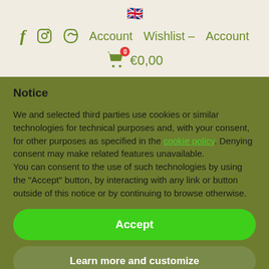🇬🇧 | Facebook | Instagram | Pinterest | Account | Wishlist – Account | 0 €0,00
Notice
We and selected third parties use cookies or similar technologies for technical purposes and, with your consent, for other purposes as specified in the cookie policy. Denying consent may make related features unavailable.
You can consent to the use of such technologies by using the "Accept" button, by interacting with any link or button outside of this notice or by continuing to browse otherwise.
Accept
Learn more and customize